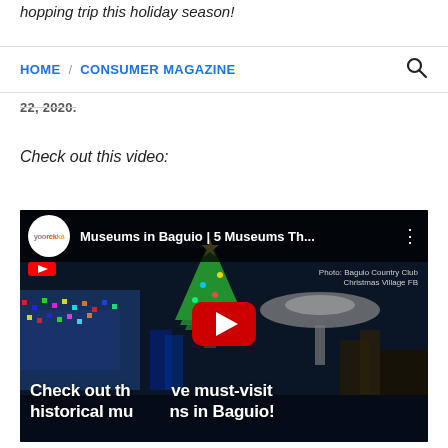hopping trip this holiday season!
HOME / CONSUMER MAGAZINE
22, 2020.
Check out this video:
[Figure (screenshot): YouTube video thumbnail for 'Museums in Baguio | 5 Museums Th...' by Yoorekka. Shows a night scene with Christmas lights and decorations in Baguio. Text overlay reads: 'Check out the five must-visit historical museums in Baguio!' with a YouTube play button in the center. Photo credit: Baguio Country Club Christmas Village FB.]